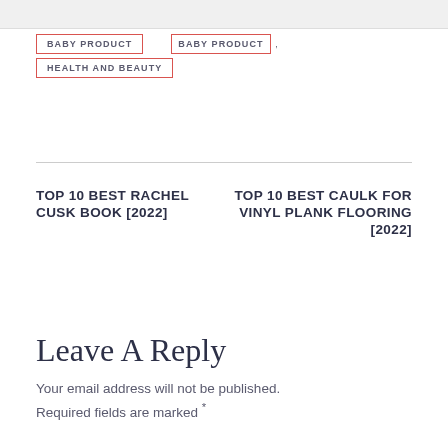[Figure (screenshot): Top banner area with partially visible link text]
BABY PRODUCT
BABY PRODUCT ,
HEALTH AND BEAUTY
TOP 10 BEST RACHEL CUSK BOOK [2022]
TOP 10 BEST CAULK FOR VINYL PLANK FLOORING [2022]
Leave A Reply
Your email address will not be published. Required fields are marked *